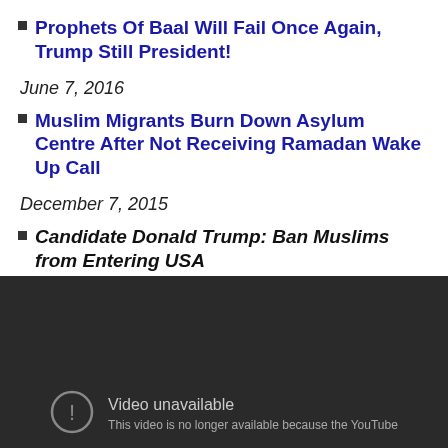Prophets Of Baal Will Fail Once Again, Trump Still President!
June 7, 2016
Muslim Migrants Burn Down Asylum Centre After Not Receiving Ramadan Wake Up Call
December 7, 2015
Candidate Donald Trump: Ban Muslims from Entering USA
[Figure (screenshot): Embedded video player showing 'Video unavailable' message: 'This video is no longer available because the YouTube']